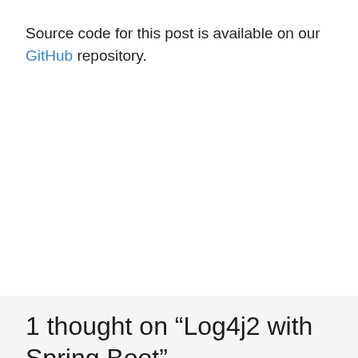Source code for this post is available on our GitHub repository.
1 thought on “Log4j2 with Spring Boot”